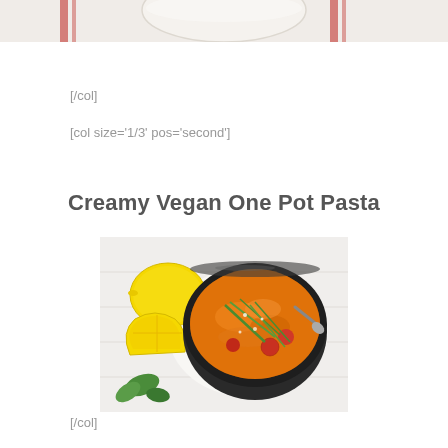[Figure (photo): Top portion of a bowl with red and white striped cloth/towel visible behind it, cropped at top of page]
[/col]
[col size='1/3' pos='second']
Creamy Vegan One Pot Pasta
[Figure (photo): Overhead photo of a dark bowl filled with creamy orange pasta garnished with green onions and cherry tomatoes, with a whole lemon, a halved lemon, and fresh basil leaves arranged on a white surface beside the bowl]
[/col]